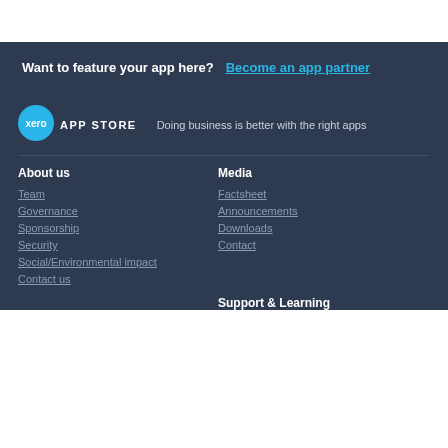Want to feature your app here? Become an app partner
[Figure (logo): Xero App Store logo — blue circle with 'xero' text and 'APP STORE' label]
Doing business is better with the right apps
About us
Team
Governance
Sponsorship
Security
Social/Environmental impact
Contact us
Media
Factsheet
Announcements
Downloads
Contact
Support & Learning